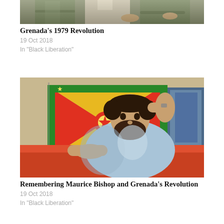[Figure (photo): Partial/cropped photo showing people from shoulders down, in military-style shirts, arms crossed]
Grenada's 1979 Revolution
19 Oct 2018
In "Black Liberation"
[Figure (photo): Photo of Maurice Bishop, a bearded man in a light blue shirt, seated with his arm raised behind his head, in front of a Grenada flag with red, yellow, and green colors]
Remembering Maurice Bishop and Grenada's Revolution
19 Oct 2018
In "Black Liberation"